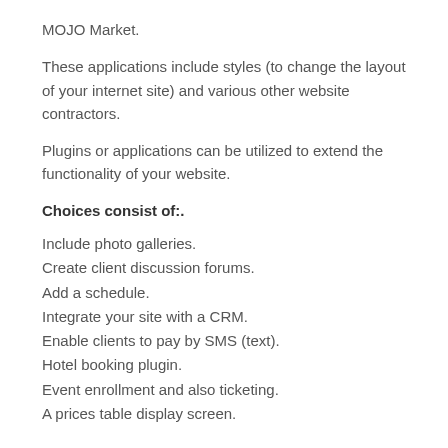MOJO Market.
These applications include styles (to change the layout of your internet site) and various other website contractors.
Plugins or applications can be utilized to extend the functionality of your website.
Choices consist of:.
Include photo galleries.
Create client discussion forums.
Add a schedule.
Integrate your site with a CRM.
Enable clients to pay by SMS (text).
Hotel booking plugin.
Event enrollment and also ticketing.
A prices table display screen.